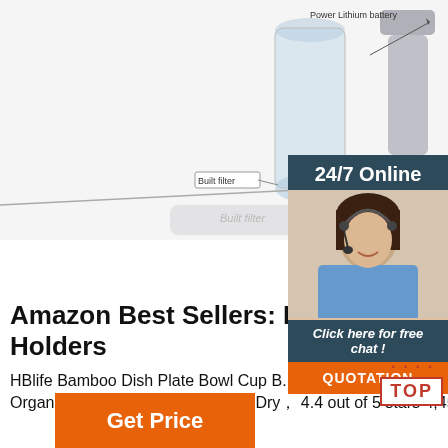[Figure (photo): Product image showing a clear water bottle and a gray handheld device with labels 'Power Lithium battery' and 'Built filter'. Below is a partial view of additional product components. A diagonal line separates the two image sections.]
[Figure (photo): Customer support agent photo: smiling woman with headset. Overlaid panel with '24/7 Online', 'Click here for free chat!', and orange 'QUOTATION' button.]
Amazon Best Sellers: Best Po... Holders
HBlife Bamboo Dish Plate Bowl Cup B... Lid Cutting Board Drying Rack Stand ... Storage Holder Organizer Kitchen Cabinet，Keep Dry， 4.4 out of 5 stars 4,454 1 offer from $7.99
[Figure (logo): TOP badge with red dots above and red border text 'TOP']
Get Price